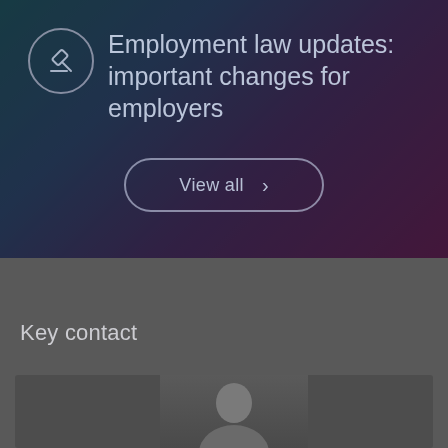[Figure (screenshot): Dark gradient banner with legal/gavel icon in circle on left, title text on right, and a 'View all' button with chevron arrow below]
Employment law updates: important changes for employers
Key contact
[Figure (photo): Partial photo of a person (Key contact) visible at bottom of page]